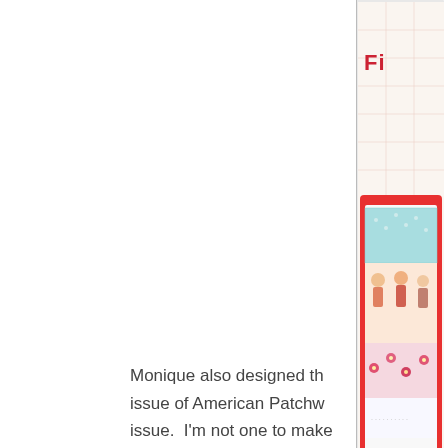[Figure (photo): Partial view of a magazine cover — American Patchwork & Quilting — showing a colorful quilted bag with red, floral, and aqua fabric strips. The cover is cropped on the right side and shows partial text in red: 'Fi...' at top and 'So...' plus small text lines near the bottom.]
Monique also designed th issue of American Patchw issue.  I'm not one to make